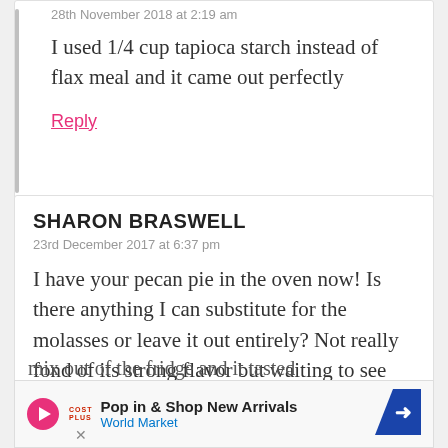28th November 2018 at 2:19 am
I used 1/4 cup tapioca starch instead of flax meal and it came out perfectly
Reply
SHARON BRASWELL
23rd December 2017 at 6:37 pm
I have your pecan pie in the oven now! Is there anything I can substitute for the molasses or leave it out entirely? Not really fond of its strong flavor but waiting to see how the pie turns out... It wasn't overpowering yet when I took the pie mix out of the fridge and it tasted so far.